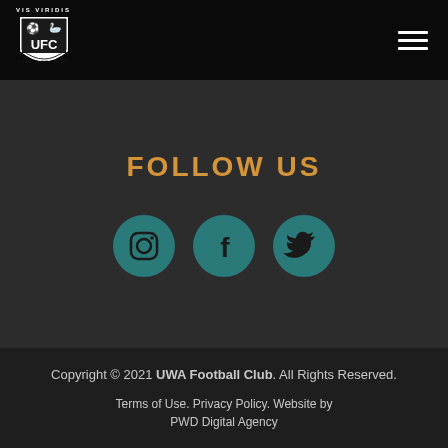UWA Football Club — VIS VIRIDIS — NUDATE ET VICATE
FOLLOW US
[Figure (logo): Three teal circular social media icons: Instagram, Facebook, Twitter]
Copyright © 2021 UWA Football Club. All Rights Reserved. Terms of Use. Privacy Policy. Website by PWD Digital Agency